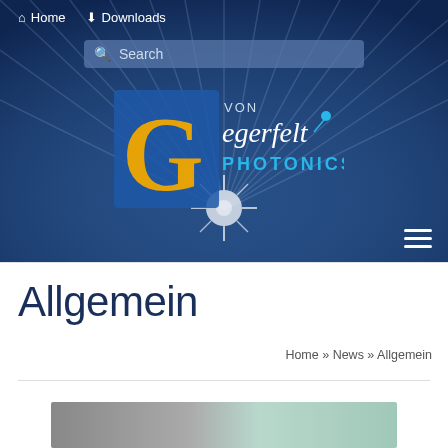[Figure (screenshot): Website header with dark blue background featuring radial light rays, navigation links (Home, Downloads), search bar, Von Egerfelt Photonics logo with large yellow G letter, and hamburger menu icon]
Allgemein
Home » News » Allgemein
[Figure (photo): Partial view of a photo with grey and teal/green tones at the bottom of the page]